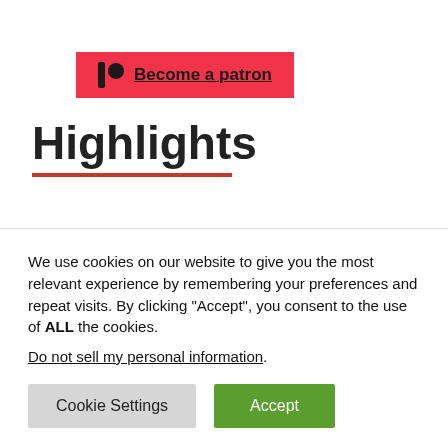[Figure (other): Patreon 'Become a patron' button with red background, Patreon logo icon and underlined text]
Highlights
We use cookies on our website to give you the most relevant experience by remembering your preferences and repeat visits. By clicking “Accept”, you consent to the use of ALL the cookies.
Do not sell my personal information.
Cookie Settings | Accept